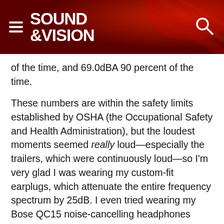SOUND &VISION
of the time, and 69.0dBA 90 percent of the time.
These numbers are within the safety limits established by OSHA (the Occupational Safety and Health Administration), but the loudest moments seemed really loud—especially the trailers, which were continuously loud—so I'm very glad I was wearing my custom-fit earplugs, which attenuate the entire frequency spectrum by 25dB. I even tried wearing my Bose QC15 noise-cancelling headphones along with my earplugs, which worked surprisingly well until the level got so high, it overloaded the noise-cancelling circuits!
Oh yeah, what about the movie itself? Is it any good?